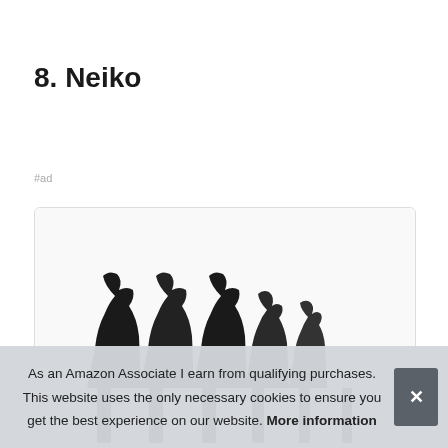8. Neiko
#ad
[Figure (photo): Product image showing a set of wrench tools arranged in a row inside a bordered card]
As an Amazon Associate I earn from qualifying purchases. This website uses the only necessary cookies to ensure you get the best experience on our website. More information